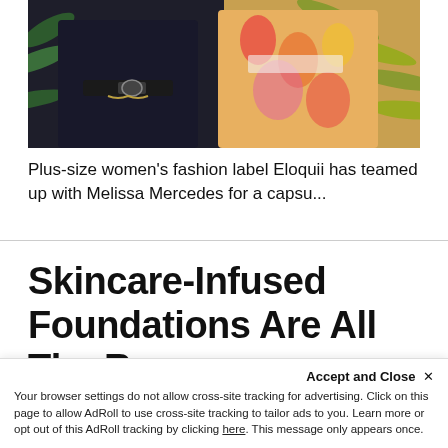[Figure (photo): Two women posing for a fashion shoot. One woman wears a black outfit with a wide belt and gold chain detail, the other wears a colorful floral/abstract print outfit. Tropical plant leaves visible in background.]
Plus-size women's fashion label Eloquii has teamed up with Melissa Mercedes for a capsu...
Skincare-Infused Foundations Are All The Rage
Accept and Close ×
Your browser settings do not allow cross-site tracking for advertising. Click on this page to allow AdRoll to use cross-site tracking to tailor ads to you. Learn more or opt out of this AdRoll tracking by clicking here. This message only appears once.